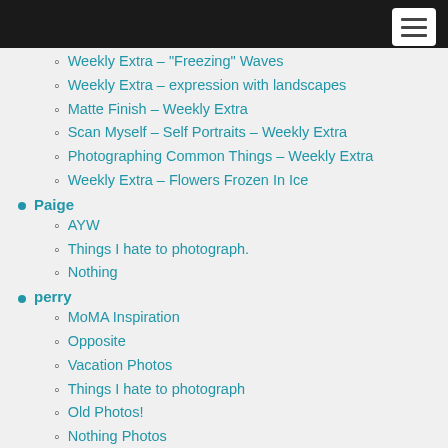[Navigation header bar with hamburger menu]
Weekly Extra – "Freezing" Waves
Weekly Extra – expression with landscapes
Matte Finish – Weekly Extra
Scan Myself – Self Portraits – Weekly Extra
Photographing Common Things – Weekly Extra
Weekly Extra – Flowers Frozen In Ice
Paige
AYW
Things I hate to photograph.
Nothing
perry
MoMA Inspiration
Opposite
Vacation Photos
Things I hate to photograph
Old Photos!
Nothing Photos
Phebe B
Q3: WEEK 6 = MARCH 30 – APRIL 3
Q3: WEEK 5 = March 23-27